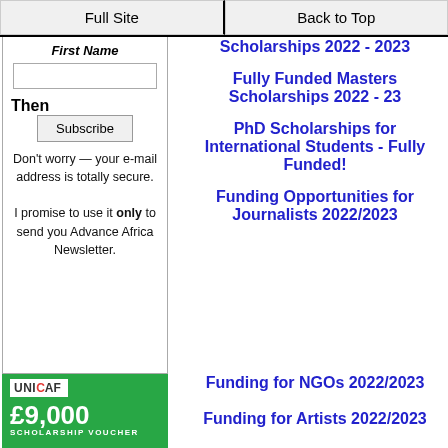Full Site | Back to Top
First Name
[input]
Then
Subscribe
Don't worry — your e-mail address is totally secure. I promise to use it only to send you Advance Africa Newsletter.
Scholarships 2022 - 2023
Fully Funded Masters Scholarships 2022 - 23
PhD Scholarships for International Students - Fully Funded!
Funding Opportunities for Journalists 2022/2023
[Figure (other): UNICAF scholarship voucher banner showing £9,000 SCHOLARSHIP VOUCHER on green background]
Funding for NGOs 2022/2023
Funding for Artists 2022/2023
Funding for Entr...